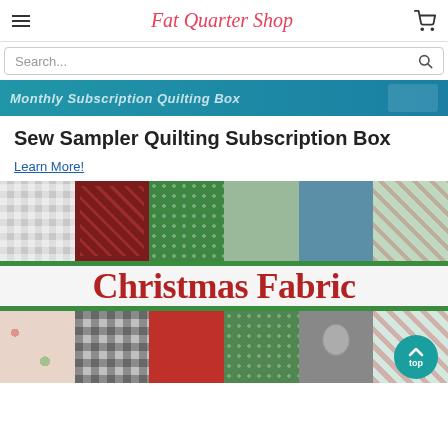Fat Quarter Shop
Search...
[Figure (photo): Monthly Subscription Quilting Box banner image, partially visible at top]
Sew Sampler Quilting Subscription Box
Learn More!
[Figure (photo): Christmas Fabric promotional banner showing colorful Christmas fabric squares with text 'Christmas Fabric' in large red serif font, and a teal 'back to top' button in the bottom right corner]